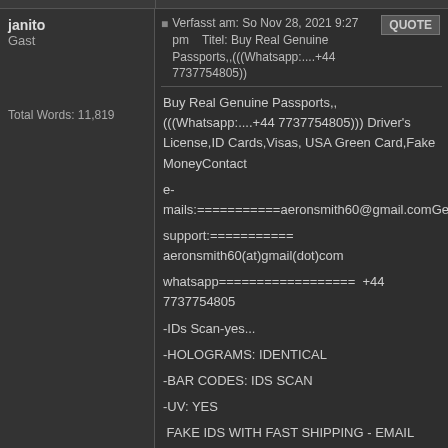janito
Gast

Total Words: 11,819
Verfasst am: So Nov 28, 2021 9:27 pm   Titel: Buy Real Genuine Passports,,(((Whatsapp:....+44 7737754805))
Buy Real Genuine Passports,,(((Whatsapp:....+44 7737754805))) Driver's License,ID Cards,Visas, USA Green Card,Fake MoneyContact

e-mails:===========aeronsmith60@gmail.comGeneral

support:=========== aeronsmith60(at)gmail(dot)com

whatsapp==================  +44 7737754805

-IDs Scan-yes...

-HOLOGRAMS: IDENTICAL

-BAR CODES: IDS SCAN

-UV: YES

 FAKE IDS WITH FAST SHIPPING - EMAIL SUPPORT
Fake ID's,Over state drivers license cards and State